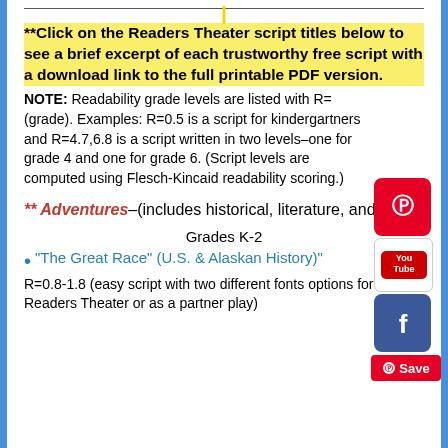**Click on the Readers Theater script titles below to see a brief excerpt of each trustworthy free script with a download link to the full printable PDF version.
NOTE: Readability grade levels are listed with R=(grade). Examples: R=0.5 is a script for kindergartners and R=4.7,6.8 is a script written in two levels–one for grade 4 and one for grade 6. (Script levels are computed using Flesch-Kincaid readability scoring.)
** Adventures–(includes historical, literature, and more)
Grades K-2
"The Great Race" (U.S. & Alaskan History)"
R=0.8-1.8 (easy script with two different fonts options for choral Readers Theater or as a partner play)